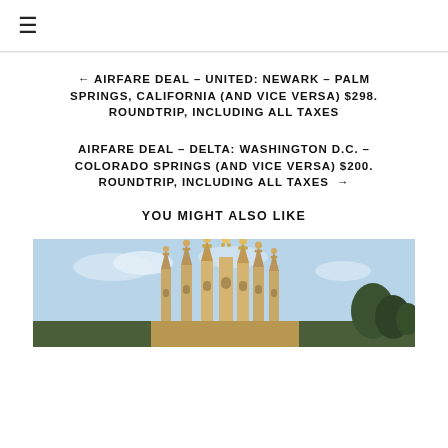☰
← AIRFARE DEAL – UNITED: NEWARK – PALM SPRINGS, CALIFORNIA (AND VICE VERSA) $298. ROUNDTRIP, INCLUDING ALL TAXES
AIRFARE DEAL – DELTA: WASHINGTON D.C. – COLORADO SPRINGS (AND VICE VERSA) $200. ROUNDTRIP, INCLUDING ALL TAXES →
YOU MIGHT ALSO LIKE
[Figure (photo): Photo of Sagrada Familia cathedral spires against a blue sky with trees visible at the right edge]